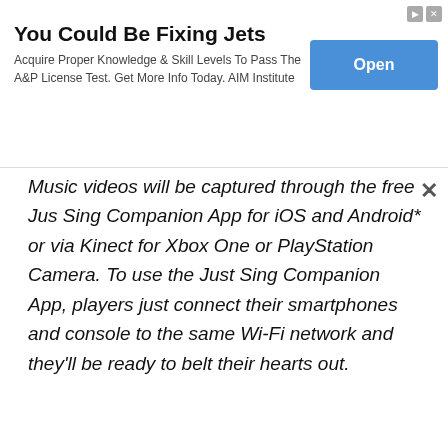[Figure (screenshot): Advertisement banner: 'You Could Be Fixing Jets' with Open button]
Music videos will be captured through the free Jus Sing Companion App for iOS and Android* or via Kinect for Xbox One or PlayStation Camera. To use the Just Sing Companion App, players just connect their smartphones and console to the same Wi-Fi network and they'll be ready to belt their hearts out.
[Figure (other): Black redaction/censorship bar]
This website uses cookies.
[Figure (screenshot): Social sharing bar with Like 0, Facebook, Twitter, and Mail buttons]